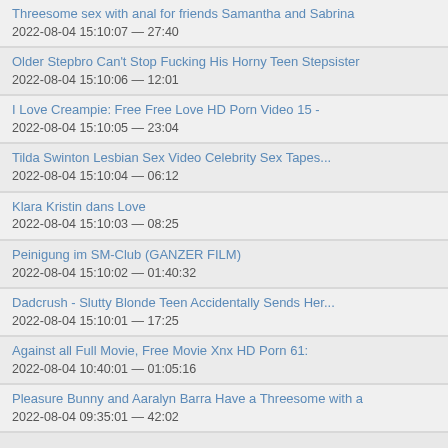Threesome sex with anal for friends Samantha and Sabrina
2022-08-04 15:10:07 — 27:40
Older Stepbro Can't Stop Fucking His Horny Teen Stepsister
2022-08-04 15:10:06 — 12:01
I Love Creampie: Free Free Love HD Porn Video 15 -
2022-08-04 15:10:05 — 23:04
Tilda Swinton Lesbian Sex Video Celebrity Sex Tapes...
2022-08-04 15:10:04 — 06:12
Klara Kristin dans Love
2022-08-04 15:10:03 — 08:25
Peinigung im SM-Club (GANZER FILM)
2022-08-04 15:10:02 — 01:40:32
Dadcrush - Slutty Blonde Teen Accidentally Sends Her...
2022-08-04 15:10:01 — 17:25
Against all Full Movie, Free Movie Xnx HD Porn 61:
2022-08-04 10:40:01 — 01:05:16
Pleasure Bunny and Aaralyn Barra Have a Threesome with a
2022-08-04 09:35:01 — 42:02